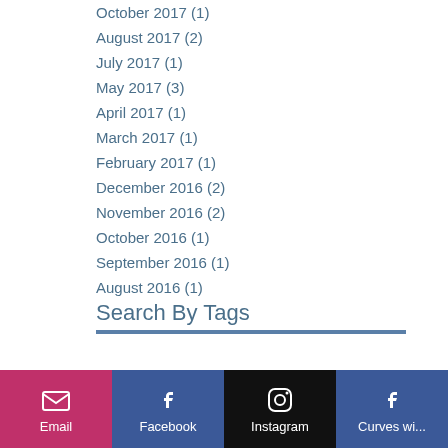October 2017 (1)
August 2017 (2)
July 2017 (1)
May 2017 (3)
April 2017 (1)
March 2017 (1)
February 2017 (1)
December 2016 (2)
November 2016 (2)
October 2016 (1)
September 2016 (1)
August 2016 (1)
Search By Tags
Follow Us
Email | Facebook | Instagram | Curves wi...